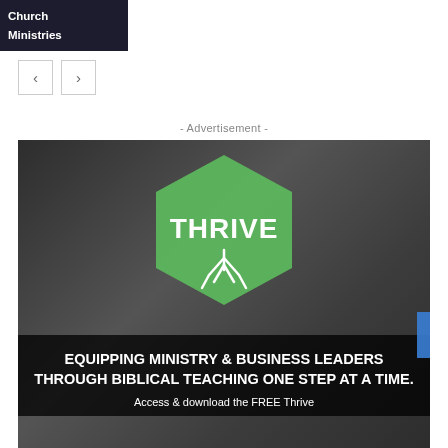Church Ministries
[Figure (screenshot): Navigation left/right arrow buttons]
- Advertisement -
[Figure (infographic): Thrive advertisement banner with hexagonal green logo containing 'THRIVE' text and tree roots icon, over a blurred street background, with text: EQUIPPING MINISTRY & BUSINESS LEADERS THROUGH BIBLICAL TEACHING ONE STEP AT A TIME. Access & download the FREE Thrive]